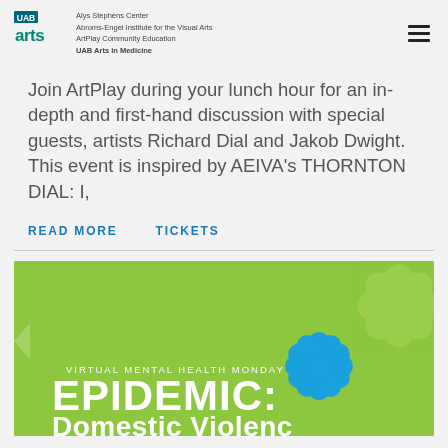UAB arts | Alys Stephens Center | Abroms-Engel Institute for the Visual Arts | ArtPlay Community Education | UAB Arts in Medicine
Join ArtPlay during your lunch hour for an in-depth and first-hand discussion with special guests, artists Richard Dial and Jakob Dwight. This event is inspired by AEIVA’s THORNTON DIAL: I,
READ MORE    TICKETS
[Figure (illustration): Green event card for 'Virtual Mental Health Monday: EPIDEMIC: Domestic Violence' with decorative flower motif and white text on green background]